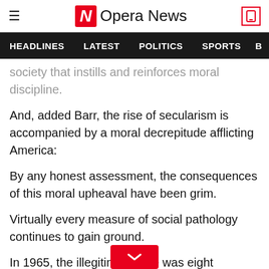Opera News
HEADLINES  LATEST  POLITICS  SPORTS  B
society that instills and reinforces moral discipline.
And, added Barr, the rise of secularism is accompanied by a moral decrepitude afflicting America:
By any honest assessment, the consequences of this moral upheaval have been grim.
Virtually every measure of social pathology continues to gain ground.
In 1965, the illegitimacy rate was eight percent. In 1992, when I was last Attorney General, it was 25 percent. Today it is over 40 percent, but...